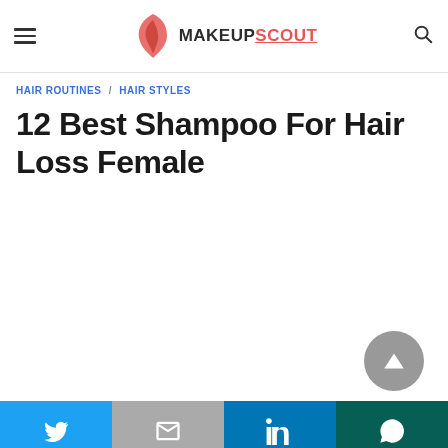MAKEUPSCOUT
HAIR ROUTINES / HAIR STYLES
12 Best Shampoo For Hair Loss Female
[Figure (other): Scroll-to-top button (grey circle with upward triangle arrow)]
Social share bar with Twitter, Gmail, LinkedIn, WhatsApp icons